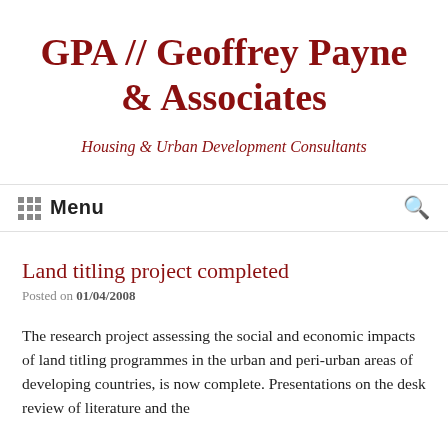GPA // Geoffrey Payne & Associates
Housing & Urban Development Consultants
Menu
Land titling project completed
Posted on 01/04/2008
The research project assessing the social and economic impacts of land titling programmes in the urban and peri-urban areas of developing countries, is now complete. Presentations on the desk review of literature and the